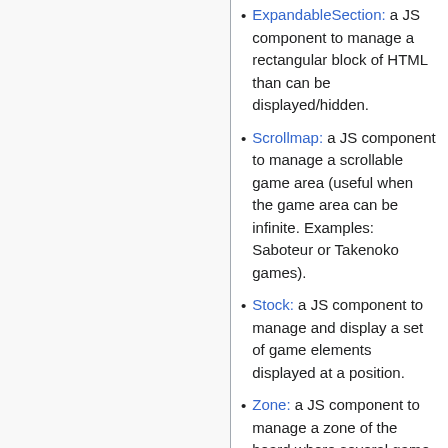ExpandableSection: a JS component to manage a rectangular block of HTML than can be displayed/hidden.
Scrollmap: a JS component to manage a scrollable game area (useful when the game area can be infinite. Examples: Saboteur or Takenoko games).
Stock: a JS component to manage and display a set of game elements displayed at a position.
Zone: a JS component to manage a zone of the board where several game elements can come and leave, but should be well displayed together (See for example: token's places at Can't Stop).
Undocumented component (if somebody knows please help with docs)
Wrapper: a JS component to wrap a <div> element around its child, even if these